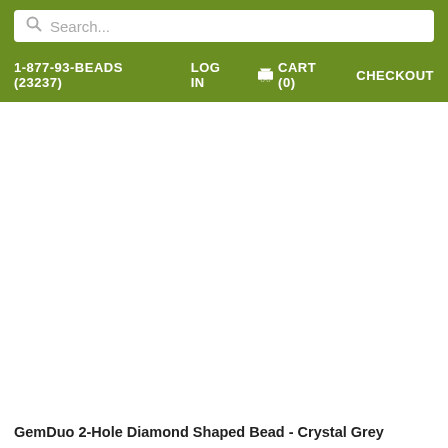Search...
1-877-93-BEADS (23237)   LOG IN   CART (0)   CHECKOUT
GemDuo 2-Hole Diamond Shaped Bead - Crystal Grey